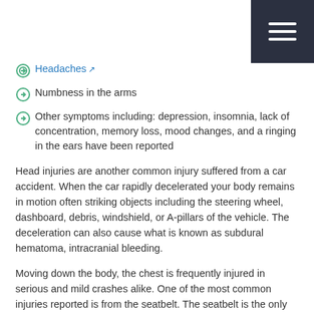Headaches
Numbness in the arms
Other symptoms including: depression, insomnia, lack of concentration, memory loss, mood changes, and a ringing in the ears have been reported
Head injuries are another common injury suffered from a car accident. When the car rapidly decelerated your body remains in motion often striking objects including the steering wheel, dashboard, debris, windshield, or A-pillars of the vehicle. The deceleration can also cause what is known as subdural hematoma, intracranial bleeding.
Moving down the body, the chest is frequently injured in serious and mild crashes alike. One of the most common injuries reported is from the seatbelt. The seatbelt is the only part of the car that acts against your motion in a crash, and at 65G (65 times your weight) can leave some painful injuries.  Like the head, the steering wheel can pose a problem. If you sit far forward and strike the chest with some degree of force, injuries are more...